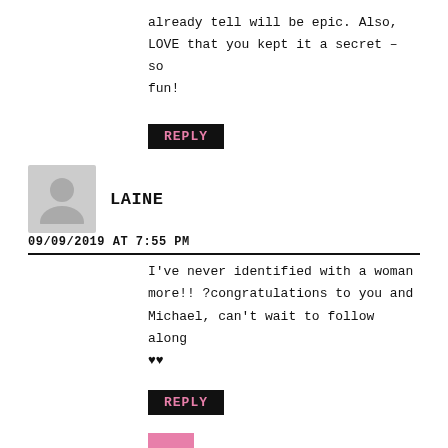already tell will be epic. Also, LOVE that you kept it a secret – so fun!
REPLY
LAINE
09/09/2019 AT 7:55 PM
I've never identified with a woman more!! ?congratulations to you and Michael, can't wait to follow along ♥♥
REPLY
TSC TEAM